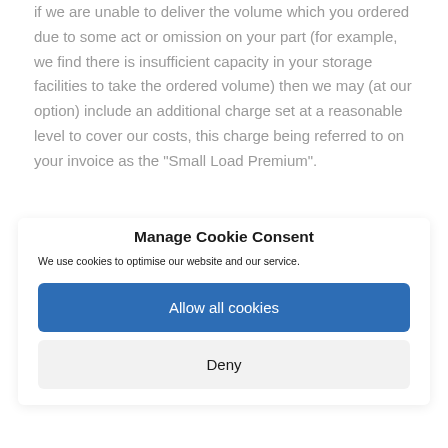if we are unable to deliver the volume which you ordered due to some act or omission on your part (for example, we find there is insufficient capacity in your storage facilities to take the ordered volume) then we may (at our option) include an additional charge set at a reasonable level to cover our costs, this charge being referred to on your invoice as the "Small Load Premium".
Manage Cookie Consent
We use cookies to optimise our website and our service.
Allow all cookies
Deny